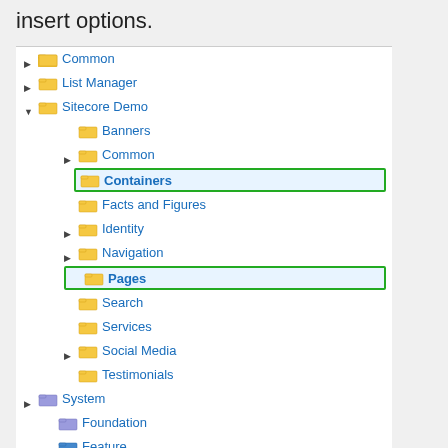insert options.
[Figure (screenshot): A Sitecore CMS content tree panel showing a hierarchical folder structure. Items include Common, List Manager, Sitecore Demo (expanded) with sub-items: Banners, Common, Containers (highlighted with green border), Facts and Figures, Identity, Navigation, Pages (highlighted with green border), Search, Services, Social Media, Testimonials. Also shown: System (with sub-items Foundation, Feature, Project).]